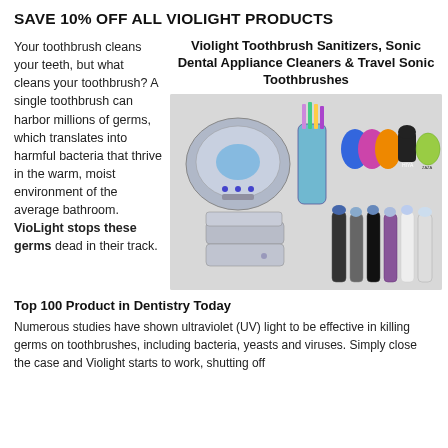SAVE 10% OFF ALL VIOLIGHT PRODUCTS
Your toothbrush cleans your teeth, but what cleans your toothbrush? A single toothbrush can harbor millions of germs, which translates into harmful bacteria that thrive in the warm, moist environment of the average bathroom. VioLight stops these germs dead in their track.
[Figure (photo): Product image showing Violight Toothbrush Sanitizers, Sonic Dental Appliance Cleaners and Travel Sonic Toothbrushes. Various colorful toothbrush sanitizer devices and electric toothbrushes displayed.]
Top 100 Product in Dentistry Today
Numerous studies have shown ultraviolet (UV) light to be effective in killing germs on toothbrushes, including bacteria, yeasts and viruses. Simply close the case and Violight starts to work, shutting off